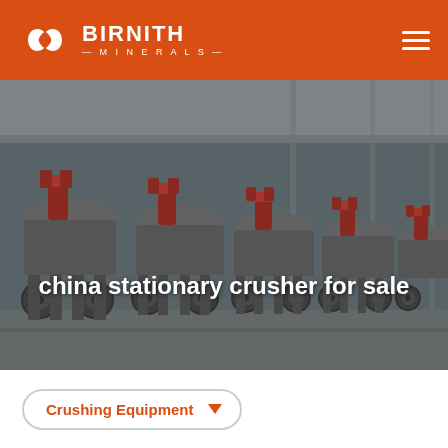[Figure (logo): Birnith Minerals logo: white hexagonal double-loop icon with BIRNITH text and —MINERALS— subtitle on orange background, hamburger menu icon top right]
[Figure (photo): Industrial factory floor with rows of large red and grey heavy crushing/grinding machines lined up in a manufacturing plant]
china stationary crusher for sale
Crushing Equipment